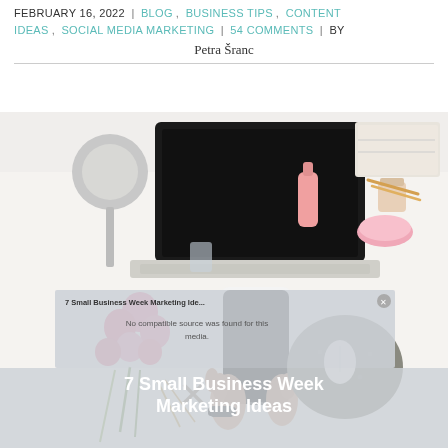February 16, 2022 | Blog, Business Tips, Content Ideas, Social Media Marketing | 54 Comments | by Petra Šranc
[Figure (photo): Overhead view of a woman's hands holding a smartphone at a white desk with a laptop, pink flowers, silver lamp, notebooks, and mouse pad. A video player overlay shows '7 Small Business Week Marketing Ide...' with 'No compatible source was found for this media.' error message and a large title '7 Small Business Week Marketing Ideas' overlaid at the bottom.]